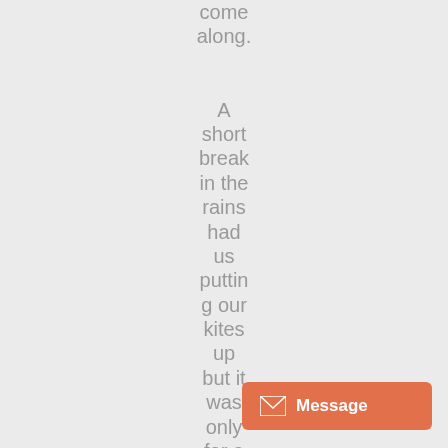come along. A short break in the rains had us putting our kites up but it was only for a few minutes befor